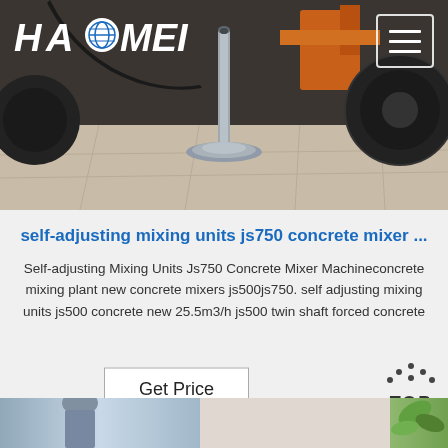[Figure (photo): Hero image of concrete mixer machinery with a vertical metal pole/shaft in the center foreground, industrial equipment visible in background with orange crane/mixer structure]
self-adjusting mixing units js750 concrete mixer ...
Self-adjusting Mixing Units Js750 Concrete Mixer Machineconcrete mixing plant new concrete mixers js500js750. self adjusting mixing units js500 concrete new 25.5m3/h js500 twin shaft forced concrete
[Figure (screenshot): Get Price button - rectangular bordered button with text 'Get Price']
[Figure (photo): Bottom strip showing partial images of people and plants/foliage]